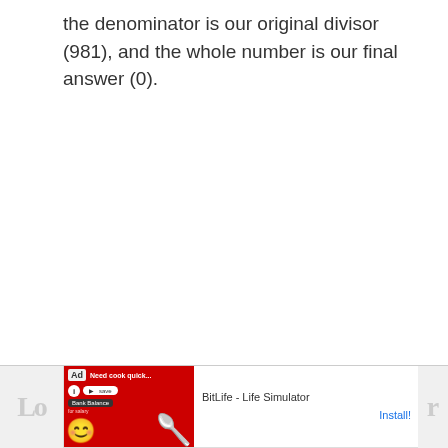the denominator is our original divisor (981), and the whole number is our final answer (0).
[Figure (other): Advertisement banner for BitLife - Life Simulator app, showing a red background with cartoon smiley face character and sperm icon, with Ad label and Install button]